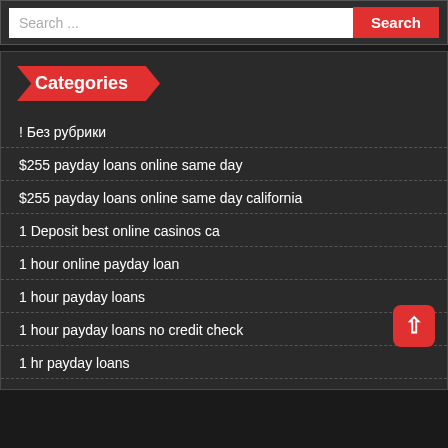Search ...  Search
Categories
! Без рубрики
$255 payday loans online same day
$255 payday loans online same day california
1 Deposit best online casinos ca
1 hour online payday loan
1 hour payday loans
1 hour payday loans no credit check
1 hr payday loans